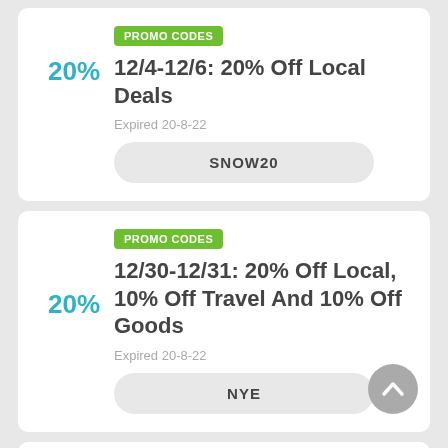PROMO CODES
12/4-12/6: 20% Off Local Deals
Expired 20-8-22
SNOW20
PROMO CODES
12/30-12/31: 20% Off Local, 10% Off Travel And 10% Off Goods
Expired 20-8-22
NYE
PROMO CODES